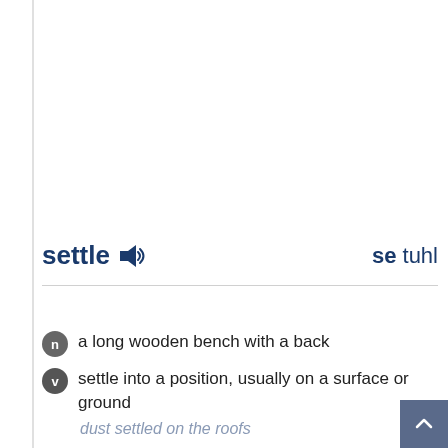settle
se tuhl
n  a long wooden bench with a back
v  settle into a position, usually on a surface or ground
dust settled on the roofs